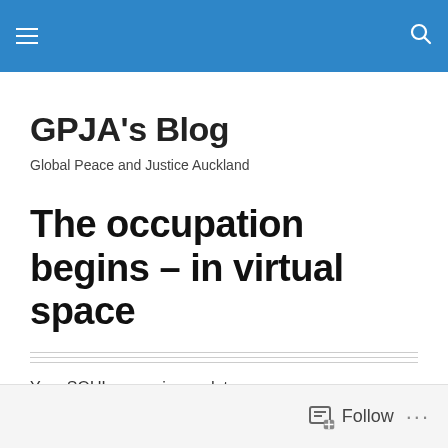GPJA's Blog navigation bar with hamburger menu and search icon
GPJA's Blog
Global Peace and Justice Auckland
The occupation begins – in virtual space
Your SOUL campaign update.
Read in your browser
Follow ...